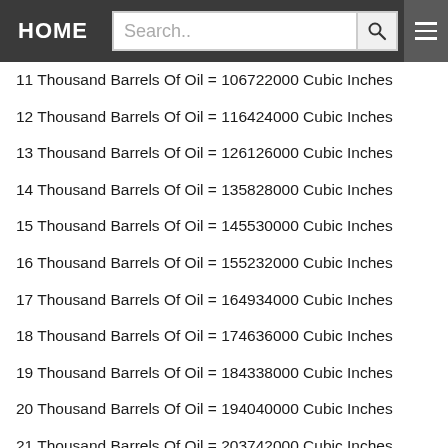HOME | Search..
11 Thousand Barrels Of Oil = 106722000 Cubic Inches
12 Thousand Barrels Of Oil = 116424000 Cubic Inches
13 Thousand Barrels Of Oil = 126126000 Cubic Inches
14 Thousand Barrels Of Oil = 135828000 Cubic Inches
15 Thousand Barrels Of Oil = 145530000 Cubic Inches
16 Thousand Barrels Of Oil = 155232000 Cubic Inches
17 Thousand Barrels Of Oil = 164934000 Cubic Inches
18 Thousand Barrels Of Oil = 174636000 Cubic Inches
19 Thousand Barrels Of Oil = 184338000 Cubic Inches
20 Thousand Barrels Of Oil = 194040000 Cubic Inches
21 Thousand Barrels Of Oil = 203742000 Cubic Inches